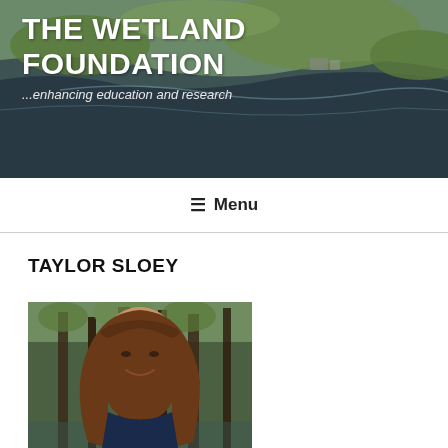[Figure (photo): Aerial photo of wetlands used as header banner background showing green marsh areas and dark water channels]
THE WETLAND FOUNDATION
...enhancing education and research
≡ Menu
TAYLOR SLOEY
[Figure (photo): Portrait photo of a young woman with long brown hair smiling, standing outdoors in a wooded area near water, wearing a dark top]